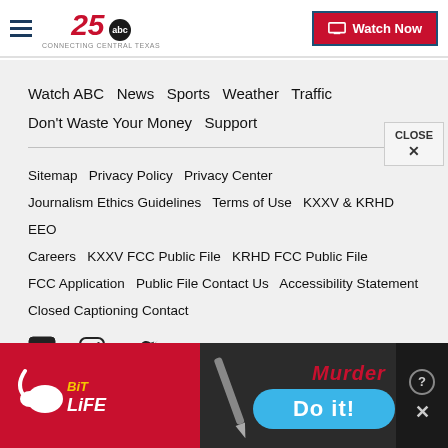KXXV 25 ABC - Connecting Central Texas | Watch Now
Watch ABC  News  Sports  Weather  Traffic  Don't Waste Your Money  Support
Sitemap  Privacy Policy  Privacy Center  Journalism Ethics Guidelines  Terms of Use  KXXV & KRHD EEO  Careers  KXXV FCC Public File  KRHD FCC Public File  FCC Application  Public File Contact Us  Accessibility Statement  Closed Captioning Contact
[Figure (other): Social media icons: Facebook, Instagram, Twitter]
Scripps Local Media
[Figure (other): Advertisement banner: BitLife app ad (left, red background) and Murder / Do it! game ad (right, dark background)]